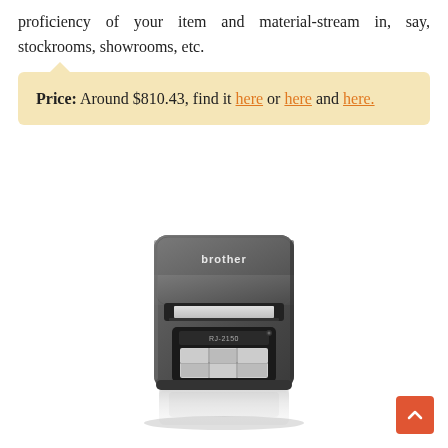proficiency of your item and material-stream in, say, stockrooms, showrooms, etc.
Price: Around $810.43, find it here or here and here.
[Figure (photo): Photo of a Brother RJ-2150 mobile label printer, dark grey/black casing, with paper loaded, showing the front panel with brand name 'brother' and model label 'RJ-2150', with a reflection below on white surface.]